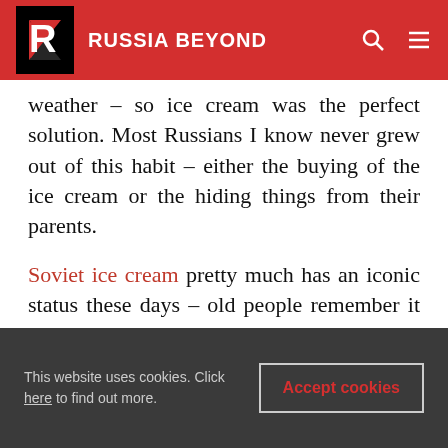RUSSIA BEYOND
weather – so ice cream was the perfect solution. Most Russians I know never grew out of this habit – either the buying of the ice cream or the hiding things from their parents.
Soviet ice cream pretty much has an iconic status these days – old people remember it with such fondness, that it always makes me think there's a lot more to their memories than just ice cream. One woman told me that when she had to make a serious decision, she would go out, get an ice cream and think the issue over while eating
This website uses cookies. Click here to find out more.
Accept cookies